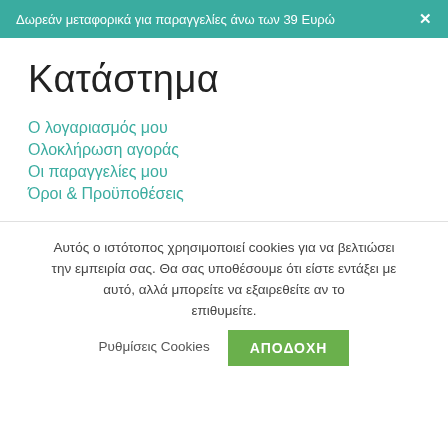Δωρεάν μεταφορικά για παραγγελίες άνω των 39 Ευρώ ✕
Κατάστημα
Ο λογαριασμός μου
Ολοκλήρωση αγοράς
Οι παραγγελίες μου
Όροι & Προϋποθέσεις
Αυτός ο ιστότοπος χρησιμοποιεί cookies για να βελτιώσει την εμπειρία σας. Θα σας υποθέσουμε ότι είστε εντάξει με αυτό, αλλά μπορείτε να εξαιρεθείτε αν το επιθυμείτε.  Ρυθμίσεις Cookies  ΑΠΟΔΟΧΗ